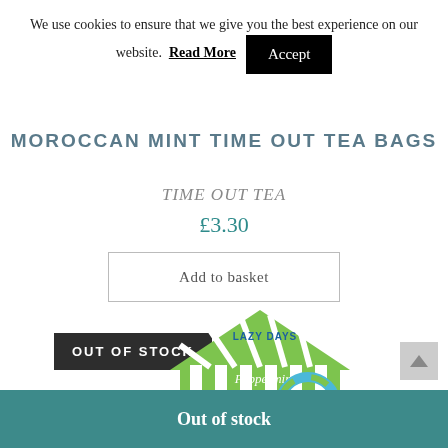We use cookies to ensure that we give you the best experience on our website. Read More Accept
MOROCCAN MINT TIME OUT TEA BAGS
TIME OUT TEA
£3.30
Add to basket
OUT OF STOCK
[Figure (photo): Green Lazy Days Peppermint Tea box shaped like a beach hut with blue and white stripes and a life preserver ring decoration]
Out of stock